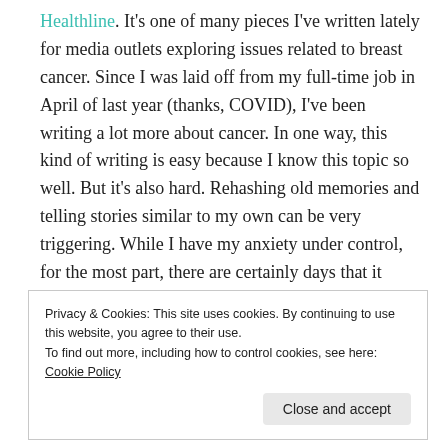Healthline. It's one of many pieces I've written lately for media outlets exploring issues related to breast cancer. Since I was laid off from my full-time job in April of last year (thanks, COVID), I've been writing a lot more about cancer. In one way, this kind of writing is easy because I know this topic so well. But it's also hard. Rehashing old memories and telling stories similar to my own can be very triggering. While I have my anxiety under control, for the most part, there are certainly days that it comes roaring back to scare the hell out of me like it once did on a daily basis.
Privacy & Cookies: This site uses cookies. By continuing to use this website, you agree to their use.
To find out more, including how to control cookies, see here: Cookie Policy